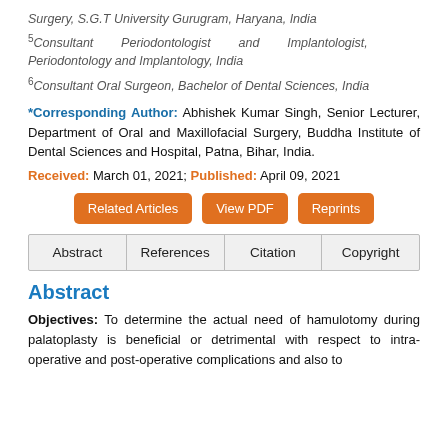Surgery, S.G.T University Gurugram, Haryana, India
5Consultant Periodontologist and Implantologist, Periodontology and Implantology, India
6Consultant Oral Surgeon, Bachelor of Dental Sciences, India
*Corresponding Author: Abhishek Kumar Singh, Senior Lecturer, Department of Oral and Maxillofacial Surgery, Buddha Institute of Dental Sciences and Hospital, Patna, Bihar, India.
Received: March 01, 2021; Published: April 09, 2021
Related Articles | View PDF | Reprints
Abstract | References | Citation | Copyright
Abstract
Objectives: To determine the actual need of hamulotomy during palatoplasty is beneficial or detrimental with respect to intra-operative and post-operative complications and also to